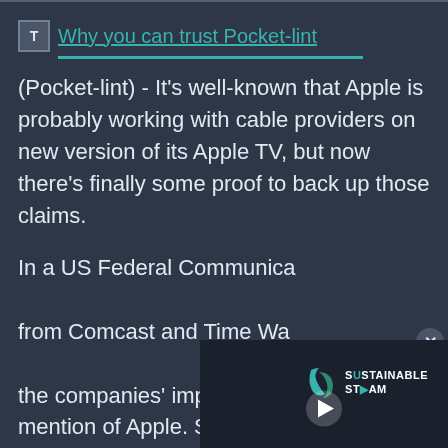Why you can trust Pocket-lint
(Pocket-lint) - It's well-known that Apple is probably working with cable providers on new version of its Apple TV, but now there's finally some proof to back up those claims.
In a US Federal Communication Commission filing from Comcast and Time Warner, there's mention of the companies' impending merger, and an interesting mention of Apple. Specifically, the filing mentions that Apple is developing a new set-top box. Although the mention offers no direct evidence and could be based on speculation, it could also mean that Time Warner and Comcast has let slip some internal hardware
[Figure (screenshot): Video player overlay showing Sustainable Steam logo with teal play button and progress bar]